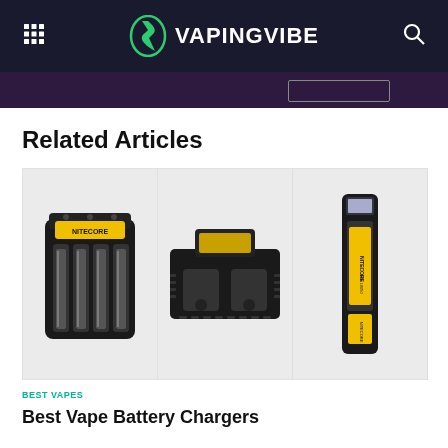VAPINGVIBE
Related Articles
[Figure (photo): Three vape battery chargers: a Nitecore 4-slot charger on the left, a 2-slot charger in the center, and a single-slot charger with batteries on the right]
BEST VAPES
Best Vape Battery Chargers